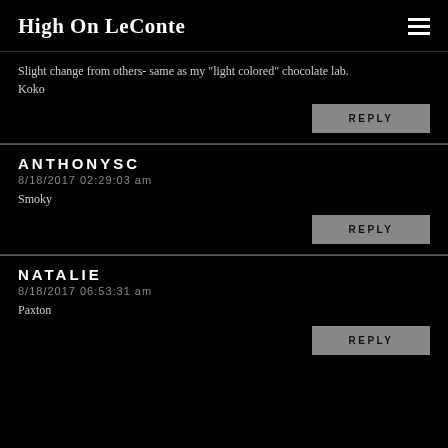High On LeConte
Slight change from others- same as my "light colored" chocolate lab.
Koko
REPLY
ANTHONYSC
8/18/2017 02:29:03 am
Smoky
REPLY
NATALIE
8/18/2017 06:53:31 am
Paxton
REPLY